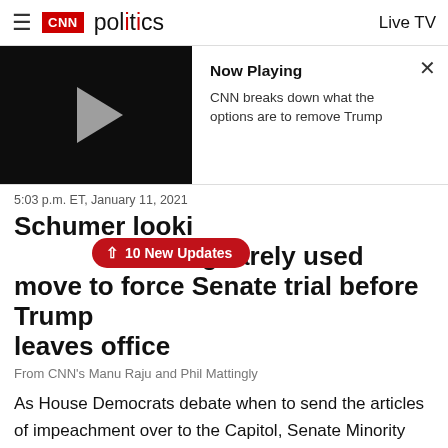≡ CNN politics  Live TV
[Figure (screenshot): CNN video player thumbnail showing a black screen with a grey play button triangle. Sidebar shows 'Now Playing' label and text 'CNN breaks down what the options are to remove Trump'. A close X button is in the top right.]
5:03 p.m. ET, January 11, 2021
Schumer looking at rarely used move to force Senate trial before Trump leaves office
↑ 10 New Updates
From CNN's Manu Raju and Phil Mattingly
As House Democrats debate when to send the articles of impeachment over to the Capitol, Senate Minority Leader Chuck Schumer is exploring whether to use emergency authority to reconvene the Senate and hold the trial before President Trump leaves office, according to a senior Democratic aide.